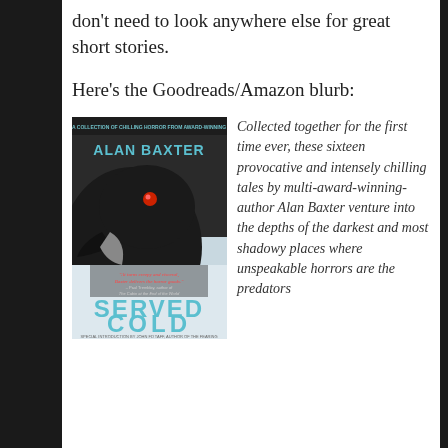don't need to look anywhere else for great short stories.
Here's the Goodreads/Amazon blurb:
[Figure (photo): Book cover of 'Served Cold' by Alan Baxter, featuring a dark raven with a red eye on a wintry background, with the text 'A Collection of Chilling Horror from Award-Winning Alan Baxter', a quote from Paul Tremblay, the title 'SERVED COLD' in large teal letters, and 'Special Introduction by John FD Taff, Author of The Fearing'.]
Collected together for the first time ever, these sixteen provocative and intensely chilling tales by multi-award-winning-author Alan Baxter venture into the depths of the darkest and most shadowy places where unspeakable horrors are the predators